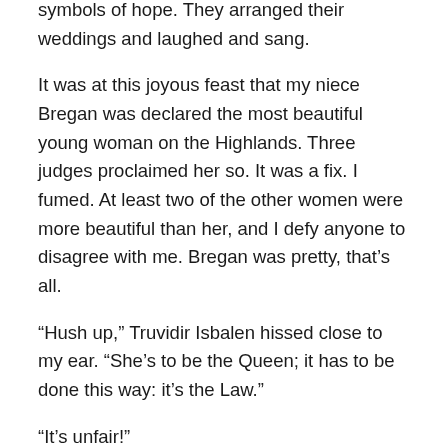symbols of hope. They arranged their weddings and laughed and sang.
It was at this joyous feast that my niece Bregan was declared the most beautiful young woman on the Highlands. Three judges proclaimed her so. It was a fix. I fumed. At least two of the other women were more beautiful than her, and I defy anyone to disagree with me. Bregan was pretty, that’s all.
“Hush up,” Truvidir Isbalen hissed close to my ear. “She’s to be the Queen; it has to be done this way: it’s the Law.”
“It’s unfair!”
He mistook my complaint. “She’ll still be your apprentice. Chief Truvidir Markenys is arranging it so she can be here with you when needed for brewing. Then once you declare